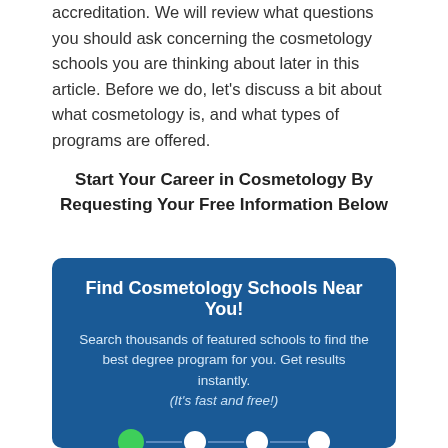accreditation. We will review what questions you should ask concerning the cosmetology schools you are thinking about later in this article. Before we do, let’s discuss a bit about what cosmetology is, and what types of programs are offered.
Start Your Career in Cosmetology By Requesting Your Free Information Below
[Figure (infographic): Dark blue rounded box with title 'Find Cosmetology Schools Near You!', descriptive text, a 4-step progress indicator (first dot green, rest white), a 'What do you want to study?' label, and a white dropdown showing 'Cosmetology & Beauty']